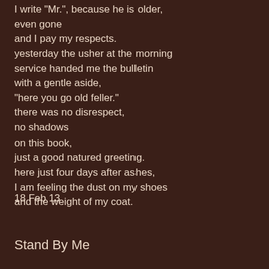I write "Mr.", because he is older,
even gone
and I pay my respects.
yesterday the usher at the morning
service handed me the bulletin
with a gentle aside,
"here you go old feller."
there was no disrespect,
no shadows
on this book,
just a good natured greeting.
here just four days after ashes,
I am feeling the dust on my shoes
and the weight of my coat.
18 Feb 13
Stand By Me